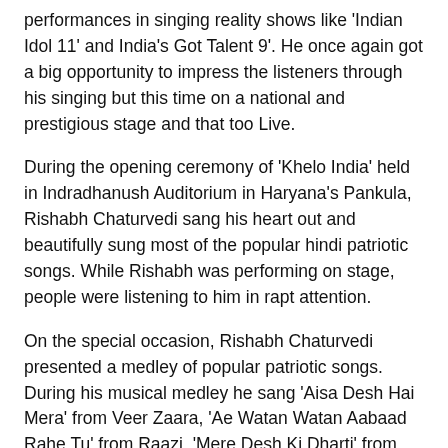performances in singing reality shows like 'Indian Idol 11' and India's Got Talent 9'. He once again got a big opportunity to impress the listeners through his singing but this time on a national and prestigious stage and that too Live.
During the opening ceremony of 'Khelo India' held in Indradhanush Auditorium in Haryana's Pankula, Rishabh Chaturvedi sang his heart out and beautifully sung most of the popular hindi patriotic songs. While Rishabh was performing on stage, people were listening to him in rapt attention.
On the special occasion, Rishabh Chaturvedi presented a medley of popular patriotic songs. During his musical medley he sang 'Aisa Desh Hai Mera' from Veer Zaara, 'Ae Watan Watan Aabaad Rahe Tu' from Raazi, 'Mere Desh Ki Dharti' from Upkaar, 'Sabse Aage Honge Hindustani from' Dus, title song 'Chak De India' from Chak De India, 'Teri Mitti Mein Mar Jaawan' from Kesari, 'Jai Ho' from Slumdog Millionaire and 'Maa Tujhe Salaam' from Vande Mataram. Needless to say, that Rishabh Chaturvedi mesmerized the crowd with his